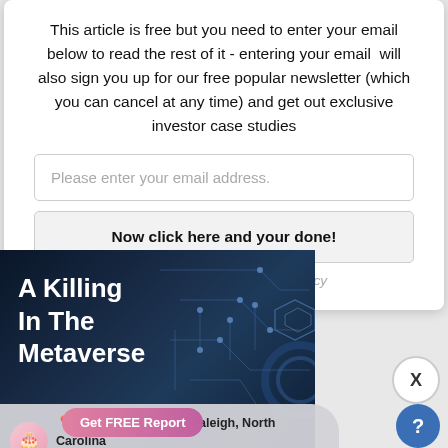This article is free but you need to enter your email below to read the rest of it - entering your email  will also sign you up for our free popular newsletter (which you can cancel at any time) and get out exclusive investor case studies
Please enter your email address.
Now click here and your done!
No spam! We respect your privacy
[Figure (illustration): Dark blue advertisement banner with circuit board graphic on the right side and bold white text reading 'A Killing In The Metaverse']
Get FREE Report
Monet Player from Raleigh, North Carolina made a purchase 2 mins ago